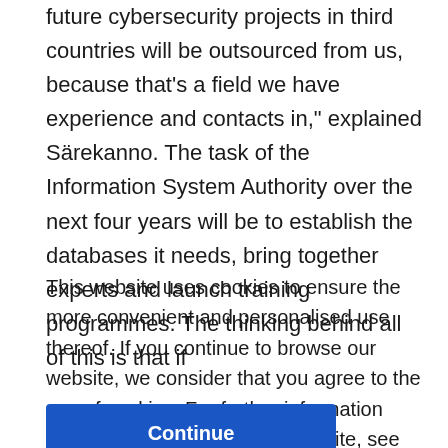future cybersecurity projects in third countries will be outsourced from us, because that's a field we have experience and contacts in," explained Särekanno. The task of the Information System Authority over the next four years will be to establish the databases it needs, bring together experts and launch training programmes. The thinking behind all of this is that if
This website uses cookies to ensure the more convenient and personalised use thereof. If you continue to browse our website, we consider that you agree to the use of cookies. For further information about cookies used on this website, see our Privacy Terms.